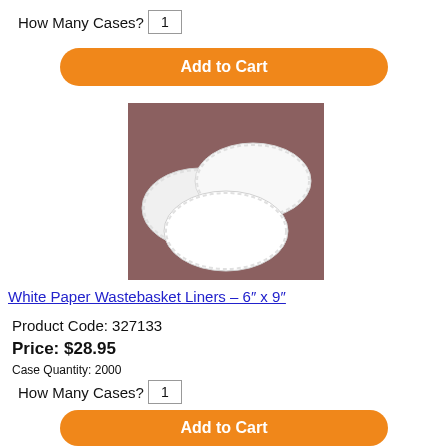How Many Cases? 1
Add to Cart
[Figure (photo): Three white oval paper wastebasket liners (doilies) with scalloped edges arranged overlapping on a dark brown/mauve background.]
White Paper Wastebasket Liners – 6″ x 9″
Product Code: 327133
Price: $28.95
Case Quantity: 2000
How Many Cases? 1
Add to Cart